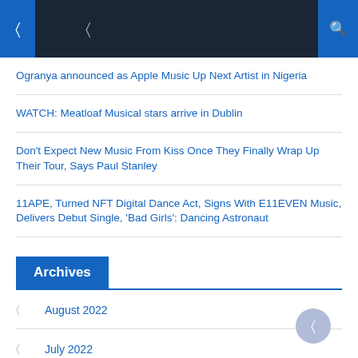Navigation bar with icons
Ogranya announced as Apple Music Up Next Artist in Nigeria
WATCH: Meatloaf Musical stars arrive in Dublin
Don't Expect New Music From Kiss Once They Finally Wrap Up Their Tour, Says Paul Stanley
11APE, Turned NFT Digital Dance Act, Signs With E11EVEN Music, Delivers Debut Single, 'Bad Girls': Dancing Astronaut
Archives
August 2022
July 2022
June 2022